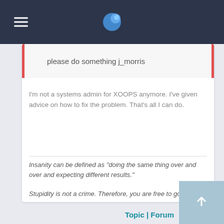please do something j_morris
I'm not a systems admin for XOOPS anymore. I've given advice on how to fix the problem. That's all I can do.
Insanity can be defined as "doing the same thing over and over and expecting different results."

Stupidity is not a crime. Therefore, you are free to go.
Topic | Forum